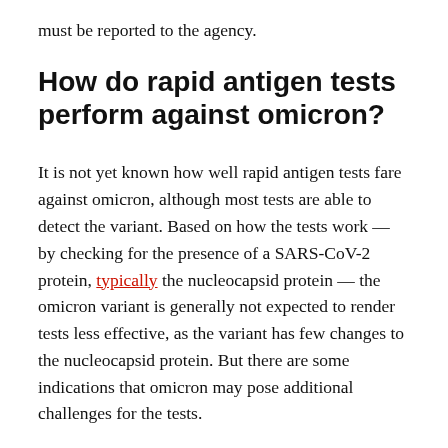must be reported to the agency.
How do rapid antigen tests perform against omicron?
It is not yet known how well rapid antigen tests fare against omicron, although most tests are able to detect the variant. Based on how the tests work — by checking for the presence of a SARS-CoV-2 protein, typically the nucleocapsid protein — the omicron variant is generally not expected to render tests less effective, as the variant has few changes to the nucleocapsid protein. But there are some indications that omicron may pose additional challenges for the tests.